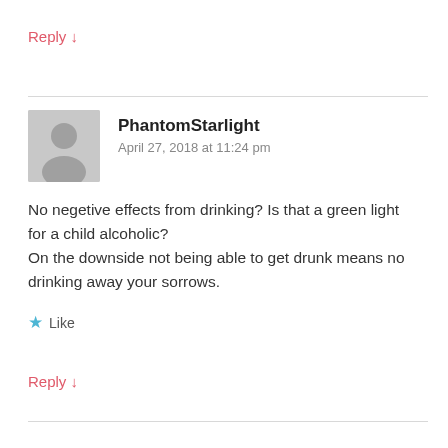Reply ↓
[Figure (illustration): Grey avatar placeholder icon showing a generic person silhouette]
PhantomStarlight
April 27, 2018 at 11:24 pm
No negetive effects from drinking? Is that a green light for a child alcoholic?
On the downside not being able to get drunk means no drinking away your sorrows.
★ Like
Reply ↓